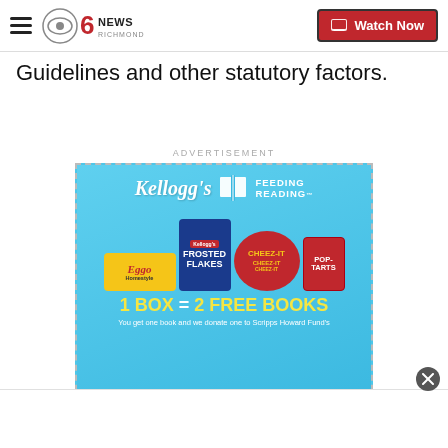CBS 6 News Richmond | Watch Now
Guidelines and other statutory factors.
ADVERTISEMENT
[Figure (photo): Kellogg's Feeding Reading advertisement. Shows Eggo Homestyle waffles box, Frosted Flakes box, Cheez-It box, and Pop-Tarts box. Text reads: 1 BOX = 2 FREE BOOKS. You get one book and we donate one to Scripps Howard Fund's...]
You get one book and we donate one to Scripps Howard Fund's